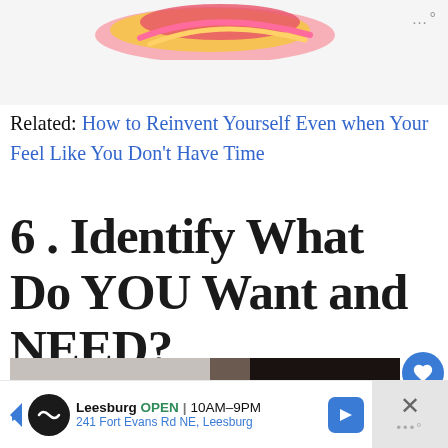[Figure (illustration): Colorful decorative swirl/donut shape at top of page with pink, orange, and yellow hues]
Related: How to Reinvent Yourself Even when Your Feel Like You Don't Have Time
6 . Identify What Do YOU Want and NEED?
[Figure (photo): Partial photo showing what appears to be a person lying down, cropped at the bottom of the page]
Leesburg OPEN 10AM–9PM | 241 Fort Evans Rd NE, Leesburg